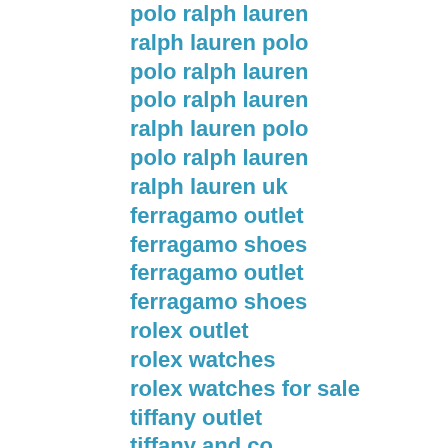polo ralph lauren
ralph lauren polo
polo ralph lauren
polo ralph lauren
ralph lauren polo
polo ralph lauren
ralph lauren uk
ferragamo outlet
ferragamo shoes
ferragamo outlet
ferragamo shoes
rolex outlet
rolex watches
rolex watches for sale
tiffany outlet
tiffany and co
tiffany jewelry
tiffany jewelry
longchamp handbags
longchamp outlet
longchamp handbags
true religion sale
true religion jeans